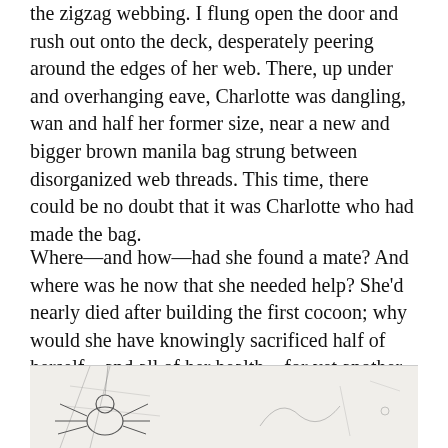the zigzag webbing. I flung open the door and rush out onto the deck, desperately peering around the edges of her web. There, up under and overhanging eave, Charlotte was dangling, wan and half her former size, near a new and bigger brown manila bag strung between disorganized web threads. This time, there could be no doubt that it was Charlotte who had made the bag.
Where—and how—had she found a mate? And where was he now that she needed help? She'd nearly died after building the first cocoon; why would she have knowingly sacrificed half of herself—and all of her health—for yet another bag of babies? I wasn't sure she'd recover this time.
[Figure (illustration): A pen-and-ink illustration showing a spider and web, partially visible at the bottom of the page.]